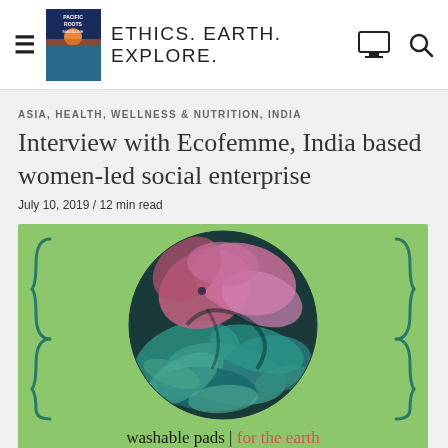ETHICS. EARTH. EXPLORE.
ASIA, HEALTH, WELLNESS & NUTRITION, INDIA
Interview with Ecofemme, India based women-led social enterprise
July 10, 2019 / 12 min read
[Figure (illustration): Ecofemme logo: green background with circular artwork showing colorful fish/leaves in teal and pink tones, curly brace decorations on sides, text 'washable pads | for the earth' at bottom]